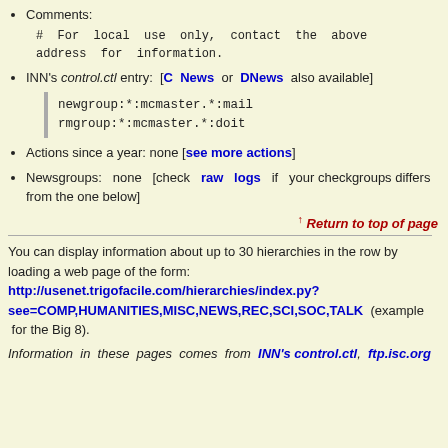Comments:
# For local use only, contact the above address for information.
INN's control.ctl entry: [C News or DNews also available]
newgroup:*:mcmaster.*:mail
rmgroup:*:mcmaster.*:doit
Actions since a year: none [see more actions]
Newsgroups: none [check raw logs if your checkgroups differs from the one below]
↑ Return to top of page
You can display information about up to 30 hierarchies in the row by loading a web page of the form:
http://usenet.trigofacile.com/hierarchies/index.py?see=COMP,HUMANITIES,MISC,NEWS,REC,SCI,SOC,TALK (example for the Big 8).
Information in these pages comes from INN's control.ctl, ftp.isc.org